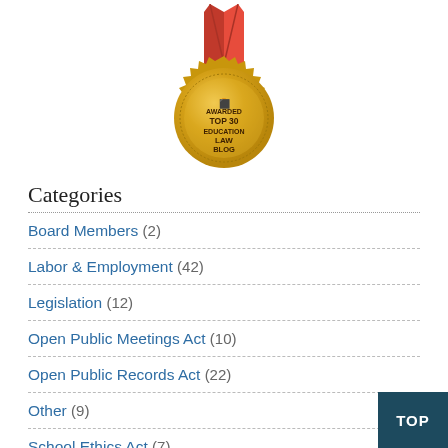[Figure (illustration): Gold award medal with red ribbon at top, text reads: AWARDED TOP 30 EDUCATION LAW BLOG with a trophy icon]
Categories
Board Members (2)
Labor & Employment (42)
Legislation (12)
Open Public Meetings Act (10)
Open Public Records Act (22)
Other (9)
School Ethics Act (7)